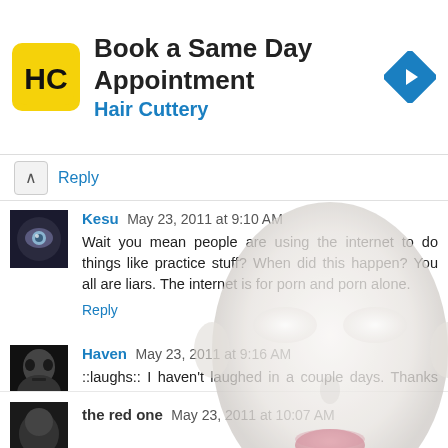[Figure (infographic): Advertisement banner for Hair Cuttery: Book a Same Day Appointment. Yellow HC logo on left, blue navigation arrow icon on right.]
Reply
Kesu May 23, 2011 at 9:10 AM
Wait you mean people are using the internet to do things like practice stuff? When did this happen? You all are liars. The internet is for porn and porn alone.
Reply
Haven May 23, 2011 at 9:16 AM
::laughs:: I haven't laughed in a couple days. Thanks guys.
Reply
the red one May 23, 2011 at 10:07 AM